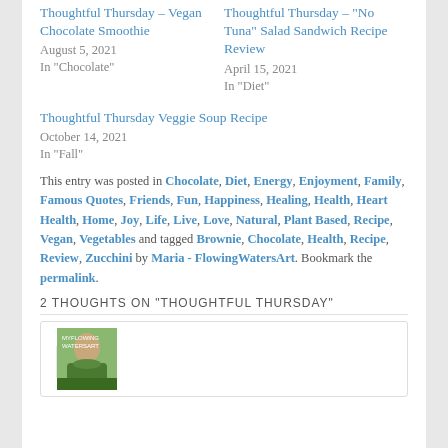Thoughtful Thursday – Vegan Chocolate Smoothie
August 5, 2021
In "Chocolate"
Thoughtful Thursday – "No Tuna" Salad Sandwich Recipe Review
April 15, 2021
In "Diet"
Thoughtful Thursday Veggie Soup Recipe
October 14, 2021
In "Fall"
This entry was posted in Chocolate, Diet, Energy, Enjoyment, Family, Famous Quotes, Friends, Fun, Happiness, Healing, Health, Heart Health, Home, Joy, Life, Live, Love, Natural, Plant Based, Recipe, Vegan, Vegetables and tagged Brownie, Chocolate, Health, Recipe, Review, Zucchini by Maria - FlowingWatersArt. Bookmark the permalink.
2 THOUGHTS ON "THOUGHTFUL THURSDAY"
[Figure (photo): Comment section with avatar photo of a person outdoors, partially visible at the bottom of the page]